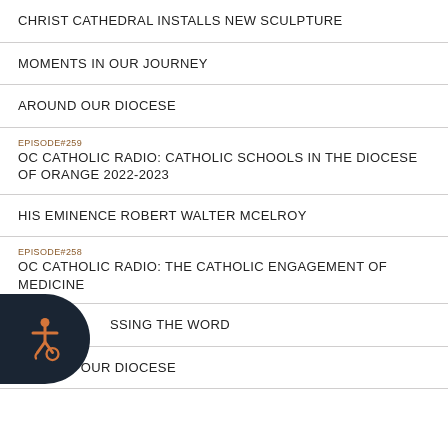CHRIST CATHEDRAL INSTALLS NEW SCULPTURE
MOMENTS IN OUR JOURNEY
AROUND OUR DIOCESE
EPISODE#259
OC CATHOLIC RADIO: CATHOLIC SCHOOLS IN THE DIOCESE OF ORANGE 2022-2023
HIS EMINENCE ROBERT WALTER MCELROY
EPISODE#258
OC CATHOLIC RADIO: THE CATHOLIC ENGAGEMENT OF MEDICINE
…SSING THE WORD
AROUND OUR DIOCESE